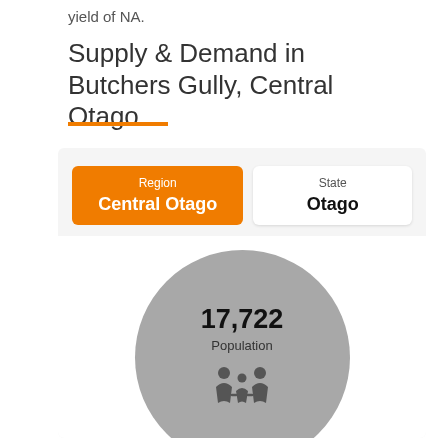yield of NA.
Supply & Demand in Butchers Gully, Central Otago
[Figure (infographic): Region/State selector tabs showing Region: Central Otago (orange active tab) and State: Otago (white tab), with a large grey circle below showing population 17,722 with family icons]